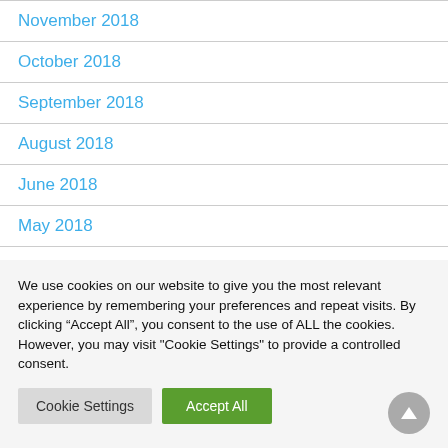November 2018
October 2018
September 2018
August 2018
June 2018
May 2018
April 2018
We use cookies on our website to give you the most relevant experience by remembering your preferences and repeat visits. By clicking “Accept All”, you consent to the use of ALL the cookies. However, you may visit "Cookie Settings" to provide a controlled consent.